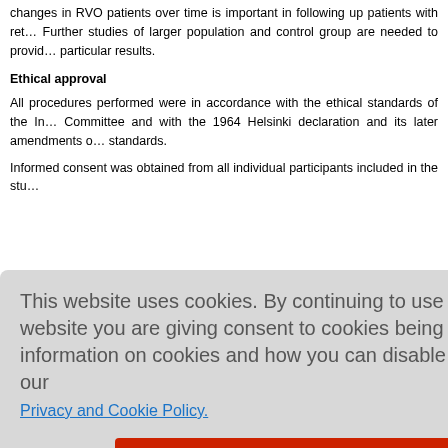changes in RVO patients over time is important in following up patients with ret… Further studies of larger population and control group are needed to provid… particular results.
Ethical approval
All procedures performed were in accordance with the ethical standards of the In… Committee and with the 1964 Helsinki declaration and its later amendments o… standards.
Informed consent was obtained from all individual participants included in the stu…
[Figure (screenshot): Cookie consent overlay with text: 'This website uses cookies. By continuing to use this website you are giving consent to cookies being used. For information on cookies and how you can disable them visit our Privacy and Cookie Policy.' and a red 'AGREE & PROCEED' button.]
The authors declare that there are no conflicts of interest of this paper.